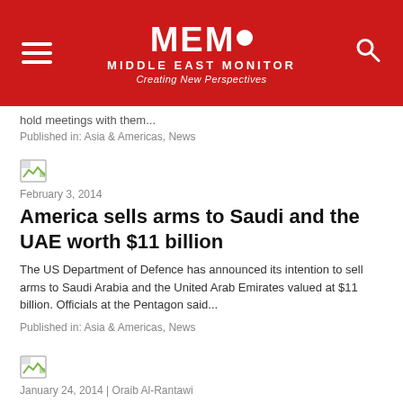MEMO Middle East Monitor - Creating New Perspectives
hold meetings with them...
Published in: Asia & Americas, News
February 3, 2014
America sells arms to Saudi and the UAE worth $11 billion
The US Department of Defence has announced its intention to sell arms to Saudi Arabia and the United Arab Emirates valued at $11 billion. Officials at the Pentagon said...
Published in: Asia & Americas, News
January 24, 2014 | Oraib Al-Rantawi
Palestinians and another deadline… that is not sacred?